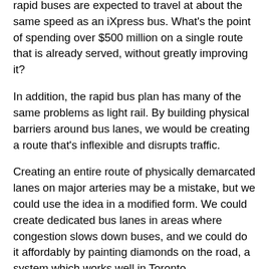rapid buses are expected to travel at about the same speed as an iXpress bus. What's the point of spending over $500 million on a single route that is already served, without greatly improving it?
In addition, the rapid bus plan has many of the same problems as light rail. By building physical barriers around bus lanes, we would be creating a route that's inflexible and disrupts traffic.
Creating an entire route of physically demarcated lanes on major arteries may be a mistake, but we could use the idea in a modified form. We could create dedicated bus lanes in areas where congestion slows down buses, and we could do it affordably by painting diamonds on the road, a system which works well in Toronto.
A major argument for light rail transit was that increased growth in the region will require more capacity than buses can provide. There is a bit of a circular argument here. The region wanted to use light rail to create density nodes in downtown cores and then argued that the resulting large numbers of passengers would require a rail service to move them.